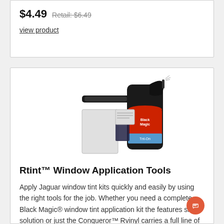$4.49 Retail: $6.49
view product
[Figure (photo): Product image showing Rtint window application tools: a squeegee/knife tool, a white squeegee pad, a small dark piece of tint film, and a Black Magic Tnt-On spray bottle with red label]
Rtint™ Window Application Tools
Apply Jaguar window tint kits quickly and easily by using the right tools for the job. Whether you need a complete Black Magic® window tint application kit the features slip solution or just the Conqueror™ Rvinyl carries a full line of tinting tools. From the world class